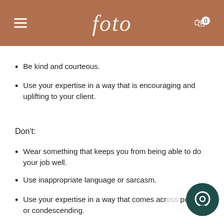foto
Be kind and courteous.
Use your expertise in a way that is encouraging and uplifting to your client.
Don't:
Wear something that keeps you from being able to do your job well.
Use inappropriate language or sarcasm.
Use your expertise in a way that comes across pushy or condescending.